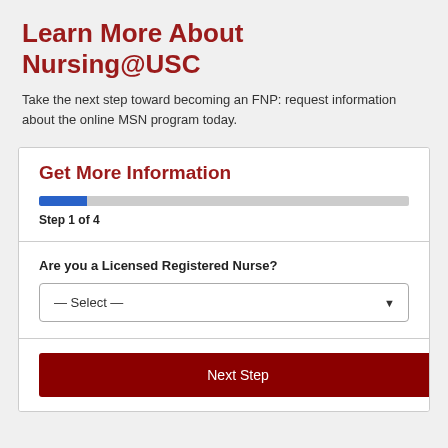Learn More About Nursing@USC
Take the next step toward becoming an FNP: request information about the online MSN program today.
Get More Information
Step 1 of 4
Are you a Licensed Registered Nurse?
— Select —
Next Step